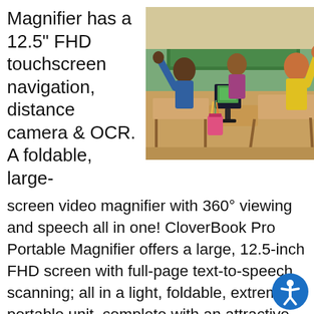Magnifier has a 12.5" FHD touchscreen navigation, distance camera & OCR. A foldable, large-screen video magnifier with 360° viewing and speech all in one! CloverBook Pro Portable Magnifier offers a large, 12.5-inch FHD screen with full-page text-to-speech scanning; all in a light, foldable, extremely portable unit, complete with an attractive protective carry case. The CloverBook Pro Portable Magnifier is powerful but simple to
[Figure (photo): Classroom scene with children raising hands at desks, a CloverBook Pro video magnifier device visible on a desk in the center, teacher's chalkboard in background.]